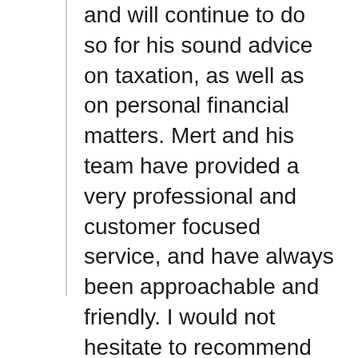and will continue to do so for his sound advice on taxation, as well as on personal financial matters. Mert and his team have provided a very professional and customer focused service, and have always been approachable and friendly. I would not hesitate to recommend Nobel Thomas to family and friends. They are accountants that I can trust with my family's financial matters.